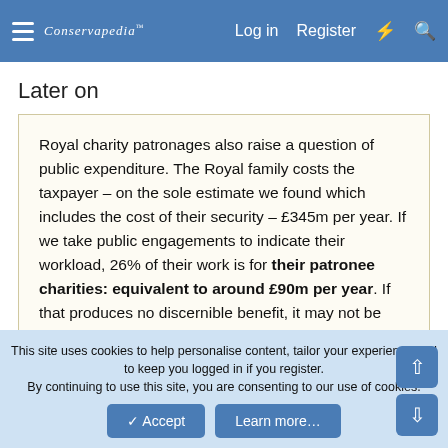Conservapedia — Log in  Register
Later on
Royal charity patronages also raise a question of public expenditure. The Royal family costs the taxpayer – on the sole estimate we found which includes the cost of their security – £345m per year. If we take public engagements to indicate their workload, 26% of their work is for their patronee charities: equivalent to around £90m per year. If that produces no discernible benefit, it may not be good value for money. On the other hand, if Royals do help patronee charities, it is legitimate to question the process and criteria by which
This site uses cookies to help personalise content, tailor your experience and to keep you logged in if you register. By continuing to use this site, you are consenting to our use of cookies.